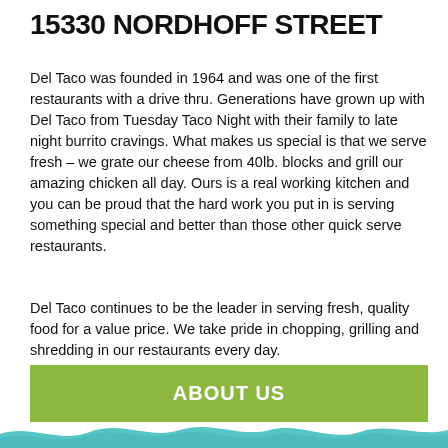15330 NORDHOFF STREET
Del Taco was founded in 1964 and was one of the first restaurants with a drive thru. Generations have grown up with Del Taco from Tuesday Taco Night with their family to late night burrito cravings. What makes us special is that we serve fresh – we grate our cheese from 40lb. blocks and grill our amazing chicken all day. Ours is a real working kitchen and you can be proud that the hard work you put in is serving something special and better than those other quick serve restaurants.
Del Taco continues to be the leader in serving fresh, quality food for a value price. We take pride in chopping, grilling and shredding in our restaurants every day.
ABOUT US
[Figure (illustration): Teal/turquoise wave pattern decorative footer border]